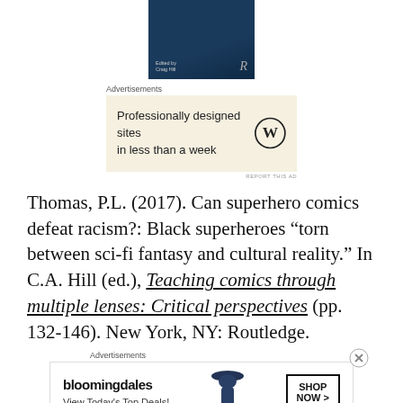[Figure (illustration): Book cover with dark blue background, small white text 'Edited by Craig Hill' and Routledge 'R' logo]
Advertisements
[Figure (illustration): WordPress advertisement: 'Professionally designed sites in less than a week' with WordPress logo on beige background]
REPORT THIS AD
Thomas, P.L. (2017). Can superhero comics defeat racism?: Black superheroes “torn between sci-fi fantasy and cultural reality.” In C.A. Hill (ed.), Teaching comics through multiple lenses: Critical perspectives (pp. 132-146). New York, NY: Routledge.
Advertisements
[Figure (illustration): Bloomingdale's advertisement showing 'bloomingdales' logo, 'View Today’s Top Deals!' text, woman in hat, and 'SHOP NOW >' button]
REPORT THIS AD